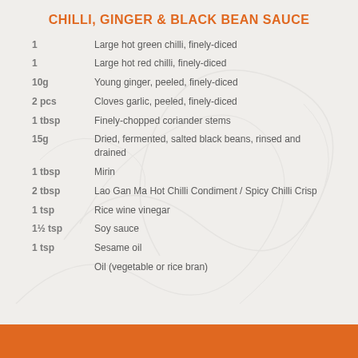CHILLI, GINGER & BLACK BEAN SAUCE
1 — Large hot green chilli, finely-diced
1 — Large hot red chilli, finely-diced
10g — Young ginger, peeled, finely-diced
2 pcs — Cloves garlic, peeled, finely-diced
1 tbsp — Finely-chopped coriander stems
15g — Dried, fermented, salted black beans, rinsed and drained
1 tbsp — Mirin
2 tbsp — Lao Gan Ma Hot Chilli Condiment / Spicy Chilli Crisp
1 tsp — Rice wine vinegar
1½ tsp — Soy sauce
1 tsp — Sesame oil
— Oil (vegetable or rice bran)